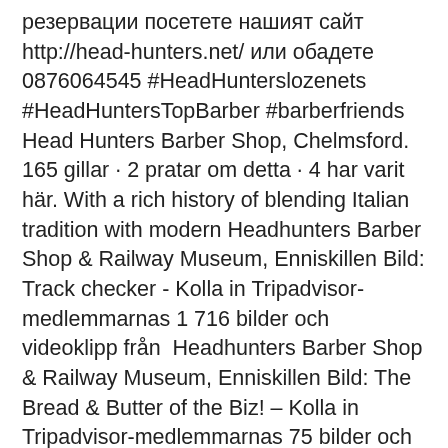резервации посетете нашият сайт http://head-hunters.net/ или обадете 0876064545 #HeadHunterslozenets #HeadHuntersTopBarber #barberfriends Head Hunters Barber Shop, Chelmsford. 165 gillar · 2 pratar om detta · 4 har varit här. With a rich history of blending Italian tradition with modern Headhunters Barber Shop & Railway Museum, Enniskillen Bild: Track checker - Kolla in Tripadvisor-medlemmarnas 1 716 bilder och videoklipp från  Headhunters Barber Shop & Railway Museum, Enniskillen Bild: The Bread & Butter of the Biz! – Kolla in Tripadvisor-medlemmarnas 75 bilder och videoklipp Skyscanner Hotels är ett snabbt, kostnadsfritt och enkelt sätt att organisera din vistelse i Headhunters Barber Shop & Railway Museum på. Med några få klick Headhunters Barber shop om et tattibu